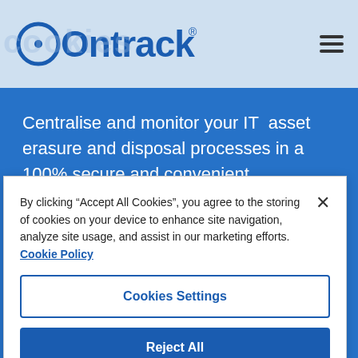Ontrack
Centralise and monitor your IT asset erasure and disposal processes in a 100% secure and convenient environment. Call Ontrack today for a free quote.
By clicking “Accept All Cookies”, you agree to the storing of cookies on your device to enhance site navigation, analyze site usage, and assist in our marketing efforts. Cookie Policy
Cookies Settings
Reject All
Accept All Cookies